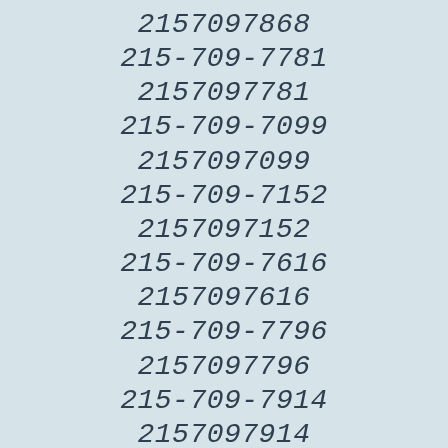2157097868
215-709-7781
2157097781
215-709-7099
2157097099
215-709-7152
2157097152
215-709-7616
2157097616
215-709-7796
2157097796
215-709-7914
2157097914
215-709-7153
2157097153
215-709-7829